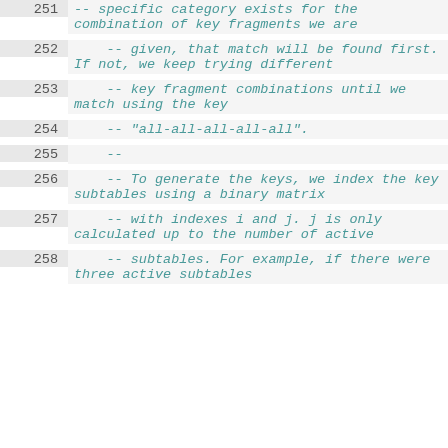251    -- specific category exists for the combination of key fragments we are
252        -- given, that match will be found first. If not, we keep trying different
253        -- key fragment combinations until we match using the key
254        -- "all-all-all-all-all".
255        --
256        -- To generate the keys, we index the key subtables using a binary matrix
257        -- with indexes i and j. j is only calculated up to the number of active
258        -- subtables. For example, if there were three active subtables